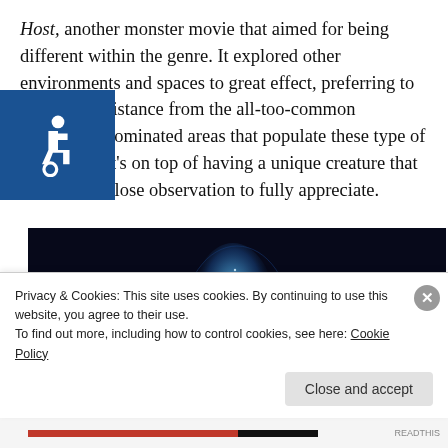Host, another monster movie that aimed for being different within the genre. It explored other environments and spaces to great effect, preferring to keep some distance from the all-too-common skyscraper-dominated areas that populate these type of movies. That's on top of having a unique creature that still invites close observation to fully appreciate.
[Figure (photo): Dark scene from the movie showing a glowing blue creature or entity in a dark environment]
Privacy & Cookies: This site uses cookies. By continuing to use this website, you agree to their use.
To find out more, including how to control cookies, see here: Cookie Policy
Close and accept